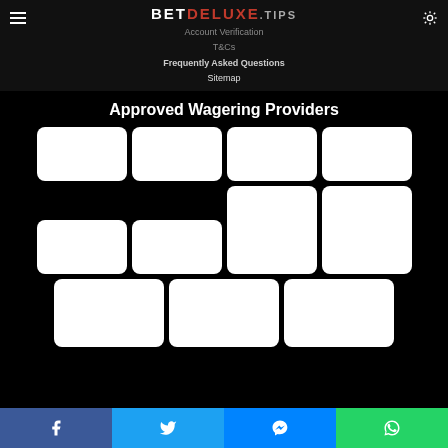BETDELUXE.TIPS
Account Verification
T&Cs
Frequently Asked Questions
Sitemap
Approved Wagering Providers
[Figure (other): Grid of 11 white rounded rectangle cards representing approved wagering providers logos, arranged in 3 rows: row 1 has 4 cards, row 2 has 4 cards (two taller), row 3 has 3 cards]
Social share bar: Facebook, Twitter, Messenger, WhatsApp